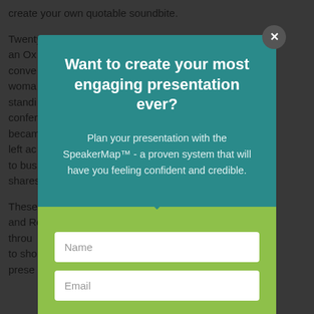create your own quotable soundbite.
Twenty ... an Ox... conve... a woman... win a standing... ual confe... Max becam... ally left ac... ques to bus... e shares...
These ... reek and Ro... sively throu... ook is to sho... ess prese...
Want to create your most engaging presentation ever?
Plan your presentation with the SpeakerMap™ - a proven system that will have you feeling confident and credible.
Name
Email